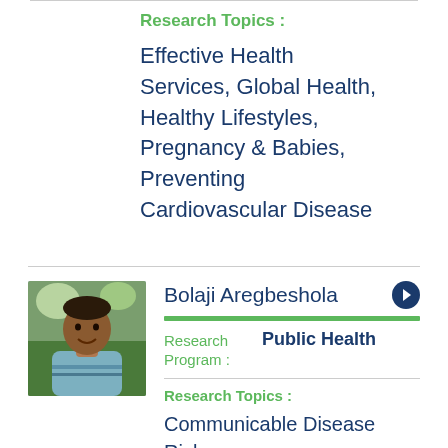Research Topics :
Effective Health Services, Global Health, Healthy Lifestyles, Pregnancy & Babies, Preventing Cardiovascular Disease
Bolaji Aregbeshola
Research Program : Public Health
Research Topics :
Communicable Disease Risks, Effective Health Services, Global